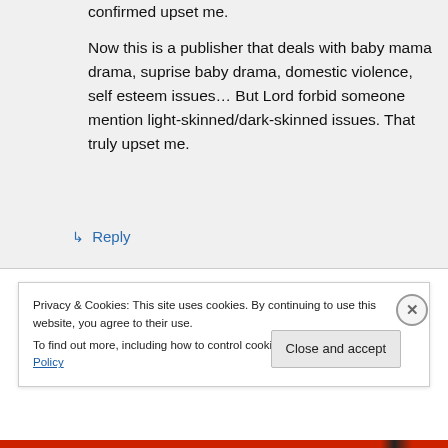confirmed upset me.
Now this is a publisher that deals with baby mama drama, suprise baby drama, domestic violence, self esteem issues… But Lord forbid someone mention light-skinned/dark-skinned issues. That truly upset me.
↳ Reply
Privacy & Cookies: This site uses cookies. By continuing to use this website, you agree to their use.
To find out more, including how to control cookies, see here: Cookie Policy
Close and accept